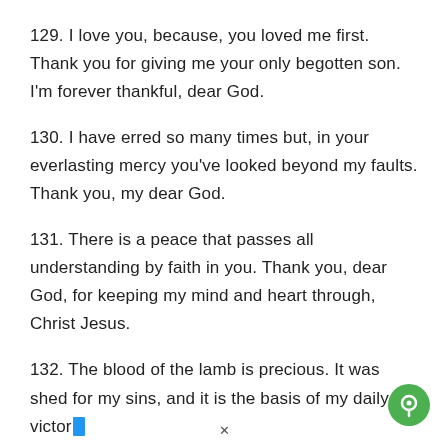129. I love you, because, you loved me first. Thank you for giving me your only begotten son. I'm forever thankful, dear God.
130. I have erred so many times but, in your everlasting mercy you've looked beyond my faults. Thank you, my dear God.
131. There is a peace that passes all understanding by faith in you. Thank you, dear God, for keeping my mind and heart through, Christ Jesus.
132. The blood of the lamb is precious. It was shed for my sins, and it is the basis of my daily victory